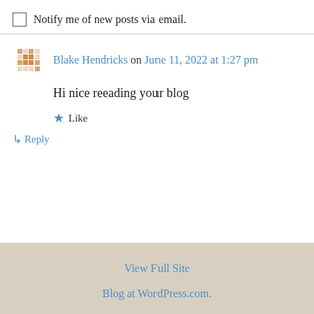Notify me of new posts via email.
Blake Hendricks on June 11, 2022 at 1:27 pm
Hi nice reeading your blog
★ Like
↳ Reply
View Full Site
Blog at WordPress.com.